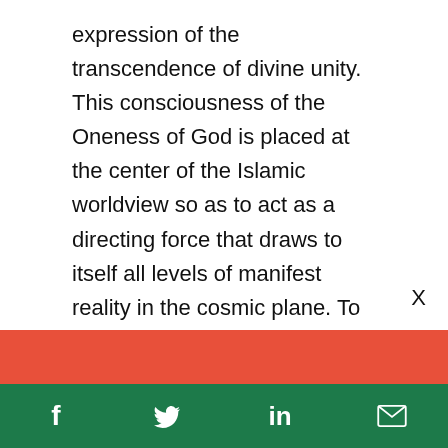expression of the transcendence of divine unity. This consciousness of the Oneness of God is placed at the center of the Islamic worldview so as to act as a directing force that draws to itself all levels of manifest reality in the cosmic plane. To proclaim that there is no god but God is to testify that there is an essential unifying principle behind the apparent multiplicity of the universe which, in Islam, is not restricted
Support climate change
f  Twitter  in  Email